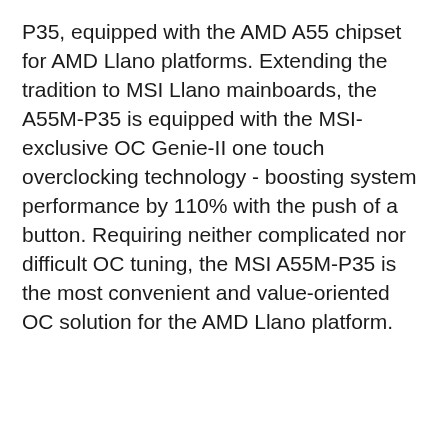P35, equipped with the AMD A55 chipset for AMD Llano platforms. Extending the tradition to MSI Llano mainboards, the A55M-P35 is equipped with the MSI-exclusive OC Genie-II one touch overclocking technology - boosting system performance by 110% with the push of a button. Requiring neither complicated nor difficult OC tuning, the MSI A55M-P35 is the most convenient and value-oriented OC solution for the AMD Llano platform.